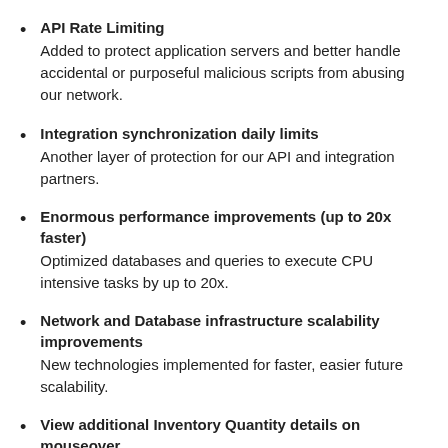API Rate Limiting
Added to protect application servers and better handle accidental or purposeful malicious scripts from abusing our network.
Integration synchronization daily limits
Another layer of protection for our API and integration partners.
Enormous performance improvements (up to 20x faster)
Optimized databases and queries to execute CPU intensive tasks by up to 20x.
Network and Database infrastructure scalability improvements
New technologies implemented for faster, easier future scalability.
View additional Inventory Quantity details on mouseover